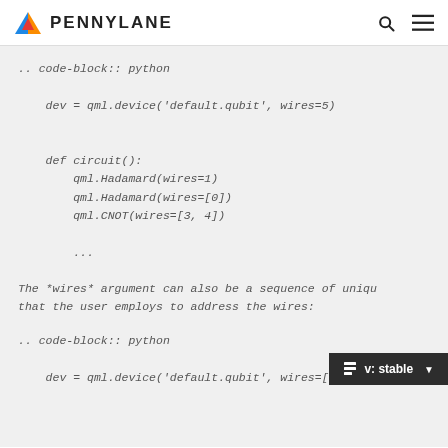PENNYLANE
.. code-block:: python

    dev = qml.device('default.qubit', wires=5)


    def circuit():
        qml.Hadamard(wires=1)
        qml.Hadamard(wires=[0])
        qml.CNOT(wires=[3, 4])

        ...
The *wires* argument can also be a sequence of unique labels that the user employs to address the wires:
.. code-block:: python

    dev = qml.device('default.qubit', wires=['ancili